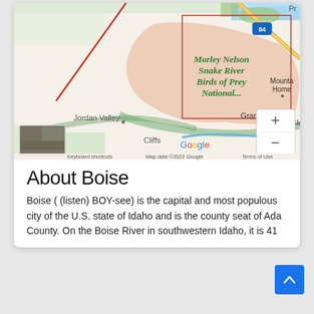[Figure (map): Google Maps screenshot showing area around Boise, Idaho including Morley Nelson Snake River Birds of Prey National Monument, Grand View, Jordan Valley, Mountain Home, and Cliffs. Shows zoom controls (+/-), a satellite thumbnail, Google logo, keyboard shortcuts, map data copyright 2022 Google, and Terms of Use.]
About Boise
Boise ( (listen) BOY-see) is the capital and most populous city of the U.S. state of Idaho and is the county seat of Ada County. On the Boise River in southwestern Idaho, it is 41